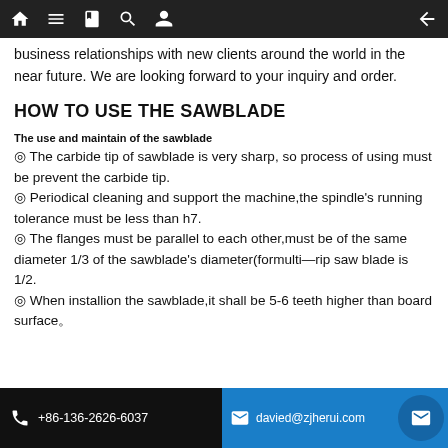Navigation bar with home, menu, book, search, profile icons and back arrow
business relationships with new clients around the world in the near future. We are looking forward to your inquiry and order.
HOW TO USE THE SAWBLADE
The use and maintain of the sawblade
◎ The carbide tip of sawblade is very sharp, so process of using must be prevent the carbide tip.
◎ Periodical cleaning and support the machine,the spindle's running tolerance must be less than h7.
◎ The flanges must be parallel to each other,must be of the same diameter 1/3 of the sawblade's diameter(formulti—rip saw blade is 1/2.
◎ When installion the sawblade,it shall be 5-6 teeth higher than board surface。
+86-136-2626-6037   davied@zjherui.com